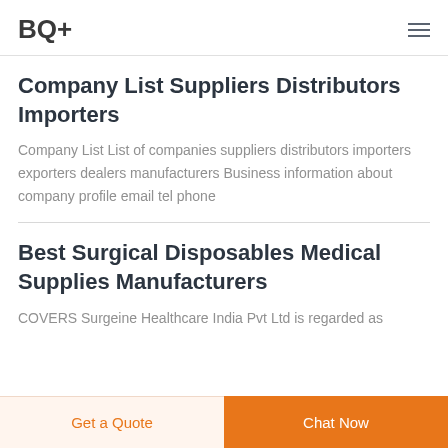BQ+
Company List Suppliers Distributors Importers
Company List List of companies suppliers distributors importers exporters dealers manufacturers Business information about company profile email tel phone
Best Surgical Disposables Medical Supplies Manufacturers
COVERS Surgeine Healthcare India Pvt Ltd is regarded as